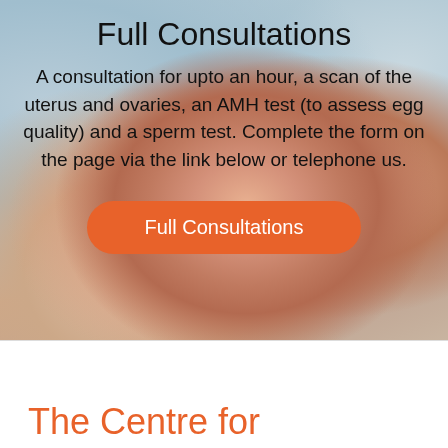[Figure (photo): Baby feet close-up photo used as background image for the Full Consultations section]
Full Consultations
A consultation for upto an hour, a scan of the uterus and ovaries, an AMH test (to assess egg quality) and a sperm test. Complete the form on the page via the link below or telephone us.
Full Consultations
The Centre for